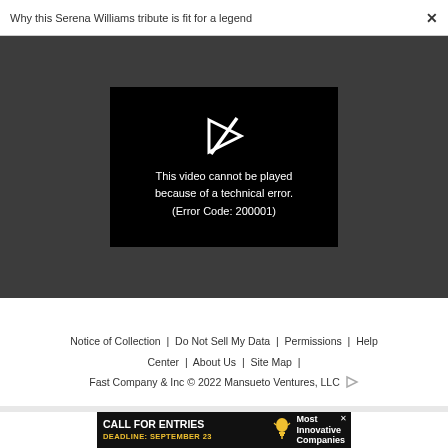Why this Serena Williams tribute is fit for a legend  ×
[Figure (screenshot): Video player showing error message on dark gray background. Black video frame with broken play icon and text: This video cannot be played because of a technical error. (Error Code: 200001)]
Notice of Collection | Do Not Sell My Data | Permissions | Help Center | About Us | Site Map | Fast Company & Inc © 2022 Mansueto Ventures, LLC
[Figure (screenshot): Advertisement banner: CALL FOR ENTRIES DEADLINE: SEPTEMBER 23 with light bulb icon and text Most Innovative Companies]